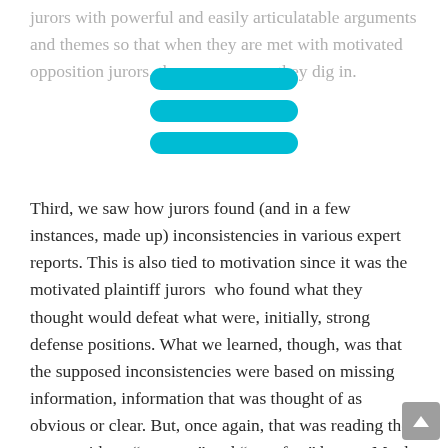jurors with powerful and easily articulatable arguments and themes so that when they are met with motivated opposition jurors, they can keep it; they dig in.
[Figure (other): Three horizontal teal/cyan rounded rectangle bars forming a hamburger menu icon overlay on the text]
Third, we saw how jurors found (and in a few instances, made up) inconsistencies in various expert reports. This is also tied to motivation since it was the motivated plaintiff jurors  who found what they thought would defeat what were, initially, strong defense positions. What we learned, though, was that the supposed inconsistencies were based on missing information, information that was thought of as obvious or clear. But, once again, that was reading the report with an “attorney” and “case fact” hat on. Mock trials provide an opportunity to test expert reports and testimony finding out: 1) what is unclear, 2) what doesn’t fit with potential jurors’ world views (i.e., they match the report to how they think the world works and if they find the two inconsistent, they dismiss the expert’s findings), and 3) how jurors process and then use reconstructions, studies, tests,